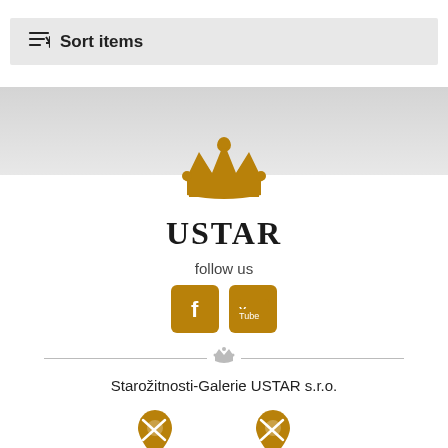Sort items
[Figure (logo): USTAR crown logo and brand name with follow us text, social icons (Facebook, YouTube), divider with crown, company name Starožitnosti-Galerie USTAR s.r.o., and location icons for Praha (Rytířská 9) and Olomouc (Denisova 306/21)]